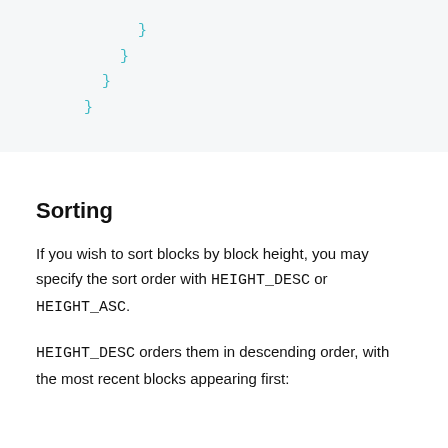[Figure (other): Code block showing closing curly braces in teal/cyan color, indented at decreasing levels: four closing braces stacked diagonally]
Sorting
If you wish to sort blocks by block height, you may specify the sort order with HEIGHT_DESC or HEIGHT_ASC.
HEIGHT_DESC orders them in descending order, with the most recent blocks appearing first: